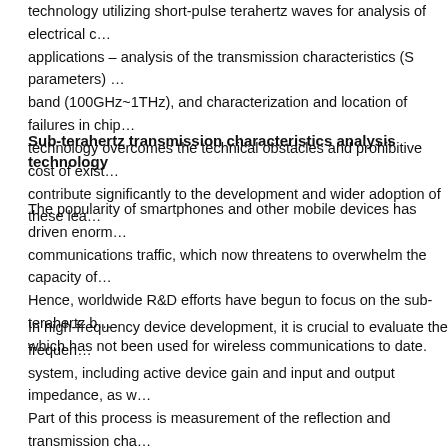technology utilizing short-pulse terahertz waves for analysis of electrical c… applications – analysis of the transmission characteristics (S parameters) … band (100GHz~1THz), and characterization and location of failures in chip… technology overcomes the technical obstacles and prohibitive cost of exist… contribute significantly to the development and wider adoption of these lea…
Sub-terahertz transmission characteristics analysis technology
The popularity of smartphones and other mobile devices has driven enorm… communications traffic, which now threatens to overwhelm the capacity of… Hence, worldwide R&D efforts have begun to focus on the sub-terahertz b… which has not been used for wireless communications to date.
In high-frequency device development, it is crucial to evaluate the frequen… system, including active device gain and input and output impedance, as w… Part of this process is measurement of the reflection and transmission cha… phase of signals emitted, known as S-parameters or scattering parameters… analyzers can only measure frequency ranges up to 100GHz wide at one t… characteristics of broader ranges must be evaluated, engineers have to re… of their equipment and measure again. This causes extra work, longer me…